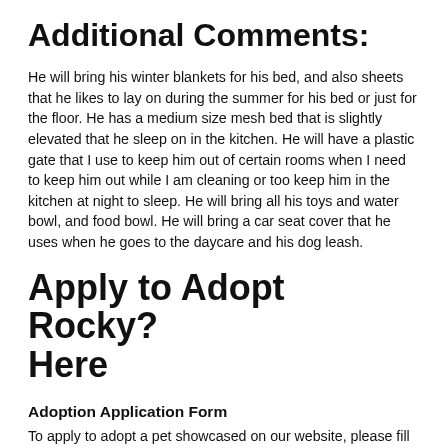Additional Comments:
He will bring his winter blankets for his bed, and also sheets that he likes to lay on during the summer for his bed or just for the floor. He has a medium size mesh bed that is slightly elevated that he sleep on in the kitchen. He will have a plastic gate that I use to keep him out of certain rooms when I need to keep him out while I am cleaning or too keep him in the kitchen at night to sleep. He will bring all his toys and water bowl, and food bowl. He will bring a car seat cover that he uses when he goes to the daycare and his dog leash.
Apply to Adopt Rocky? Here
Adoption Application Form
To apply to adopt a pet showcased on our website, please fill out the form below. Once we receive your application, our rehoming coordinator will contact you. Once approved by our staff and the pet's current owner, there will be a small rehoming fee required as